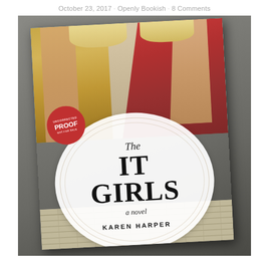October 23, 2017 · Openly Bookish · 8 Comments
[Figure (photo): A photograph of a physical book titled 'The IT Girls: a novel' by Karen Harper, resting on a dark surface. The book cover shows two women in elegant dresses (one gold/champagne, one red), cropped at the torso. A red circular sticker reads 'UNCORRECTED PROOF NOT FOR SALE'. In the center of the cover is a large white oval with concentric oval rings containing the title 'The IT GIRLS' in bold serif font, 'a novel' in italic, and 'KAREN HARPER' in uppercase letters.]